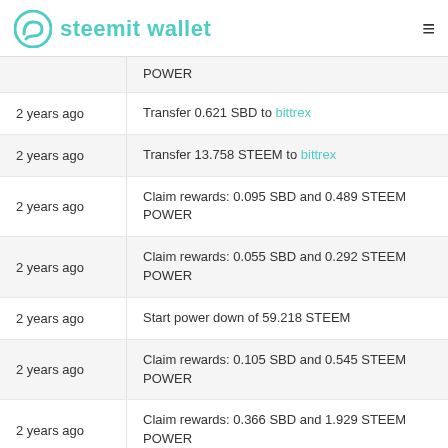steemit wallet
POWER
2 years ago — Transfer 0.621 SBD to bittrex
2 years ago — Transfer 13.758 STEEM to bittrex
2 years ago — Claim rewards: 0.095 SBD and 0.489 STEEM POWER
2 years ago — Claim rewards: 0.055 SBD and 0.292 STEEM POWER
2 years ago — Start power down of 59.218 STEEM
2 years ago — Claim rewards: 0.105 SBD and 0.545 STEEM POWER
2 years ago — Claim rewards: 0.366 SBD and 1.929 STEEM POWER